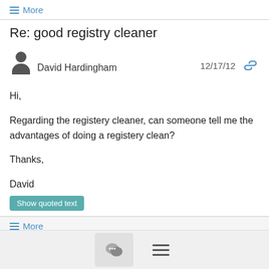≡ More
Re: good registry cleaner
David Hardingham  12/17/12
Hi,

Regarding the registery cleaner, can someone tell me the advantages of doing a registery clean?

Thanks,

David
Show quoted text
≡ More
Re: antivirus and Jaws relationship